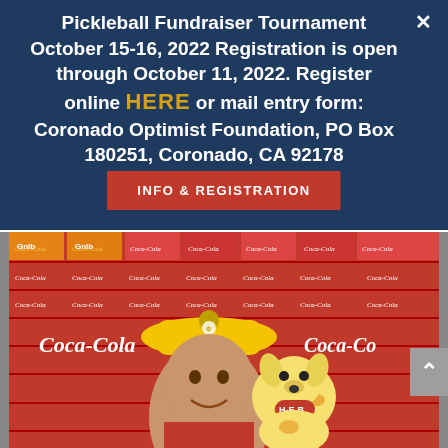Pickleball Fundraiser Tournament October 15-16, 2022 Registration is open through October 11, 2022. Register online HERE or mail entry form: Coronado Optimist Foundation, PO Box 180251, Coronado, CA 92178
INFO & REGISTRATION
[Figure (photo): A smiling woman wearing a yellow firefighter hat holding a spotted dog stuffed animal labeled 'H-E-B', standing in front of a backdrop of Coca-Cola cases and Goldfish cracker boxes.]